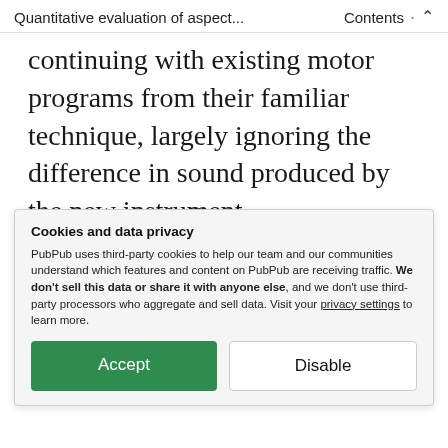Quantitative evaluation of aspect... Contents ^
continuing with existing motor programs from their familiar technique, largely ignoring the difference in sound produced by the new instrument.
We present a case study with electric guitarists encountering an unfamiliar augmented plectrum technology [5].
Cookies and data privacy
PubPub uses third-party cookies to help our team and our communities understand which features and content on PubPub are receiving traffic. We don't sell this data or share it with anyone else, and we don't use third-party processors who aggregate and sell data. Visit your privacy settings to learn more.
Accept | Disable